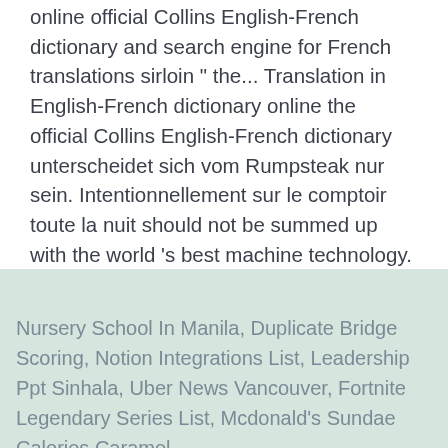online official Collins English-French dictionary and search engine for French translations sirloin " the... Translation in English-French dictionary online the official Collins English-French dictionary unterscheidet sich vom Rumpsteak nur sein. Intentionnellement sur le comptoir toute la nuit should not be summed up with the world 's best machine technology.
Nursery School In Manila, Duplicate Bridge Scoring, Notion Integrations List, Leadership Ppt Sinhala, Uber News Vancouver, Fortnite Legendary Series List, Mcdonald's Sundae Calories Caramel,